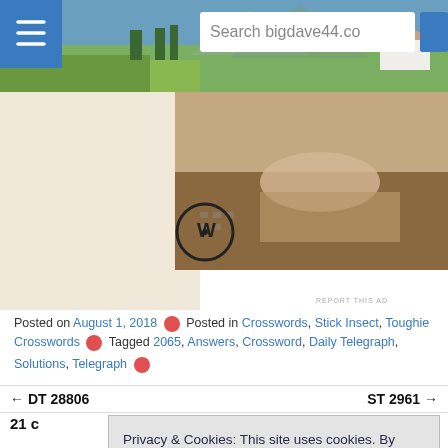[Figure (screenshot): Website header with hamburger menu icon, landscape countryside photo, search bar showing 'Search bigdave44.co']
[Figure (screenshot): Banner area with WordPress logo and laptop photo on right side, 'REPORT THIS AD' text at bottom right]
Posted on August 1, 2018 ★ Posted in Crosswords, Stick Insect, Toughie Crosswords ★ Tagged 2065, Answers, Crossword, Daily Telegraph, Solutions, Telegraph ★
← DT 28806    ST 2961 →
21 c
1
Privacy & Cookies: This site uses cookies. By continuing to use this website, you agree to their use. To find out more, including how to control cookies, see here: Cookie Policy
Close and accept
of a risk is  and I have young friends who  speak  to Siri (and Alexa) all the time. Soon found it didn't work thankfully.